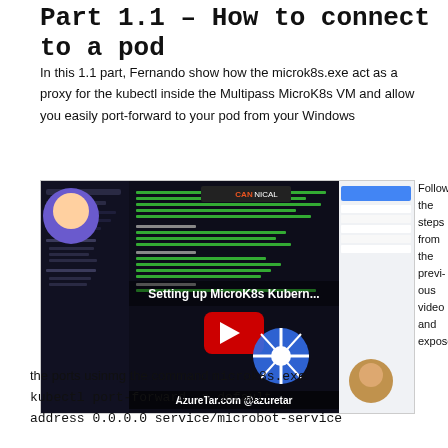Part 1.1 – How to connect to a pod
In this 1.1 part, Fernando show how the microk8s.exe act as a proxy for the kubectl inside the Multipass MicroK8s VM and allow you easily port-forward to your pod from your Windows
[Figure (screenshot): YouTube video thumbnail showing 'Setting up MicroK8s Kubern...' with Canonical branding, a Kubernetes helm wheel logo, an anime character avatar, and text 'AzureTar.com @azuretar' at the bottom. The video shows terminal/kubectl content in the background.]
Follow the steps from the previous video and expose the ports usinmg the command microk8s.exe kubectl port-forward -n default -- address 0.0.0.0 service/microbot-service
kubectl port-forward -n default -- address 0.0.0.0 service/microbot-service